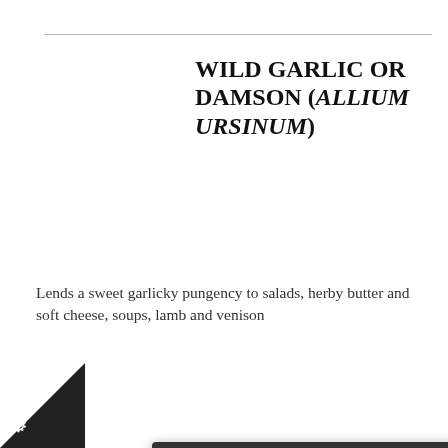WILD GARLIC OR DAMSON (ALLIUM URSINUM)
Lends a sweet garlicky pungency to salads, herby butter and soft cheese, soups, lamb and venison
[Figure (screenshot): Cookie consent modal overlay with dark header containing gear/settings icon and X close button, body text reading 'We use cookies to give you the best online experience. Please let us know if you agree to all of these cookies.', a dark 'I'm fine with this' button, and 'Information and Settings' and 'Cookie policy' links. A corner gear icon is visible at bottom-left.]
UCUS
wine and jelly. The scence can also be ated in butter and lightly deep fried to make a lacy